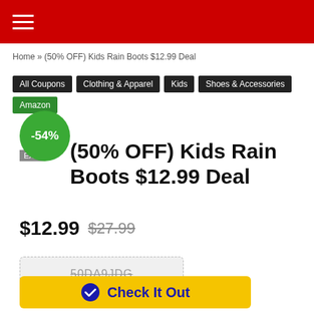Navigation menu (hamburger) on red header bar
Home » (50% OFF) Kids Rain Boots $12.99 Deal
All Coupons
Clothing & Apparel
Kids
Shoes & Accessories
Amazon
[Figure (infographic): Green circular discount badge showing -54%]
(50% OFF) Kids Rain Boots $12.99 Deal
$12.99 $27.99
50DA9JDG
Check It Out